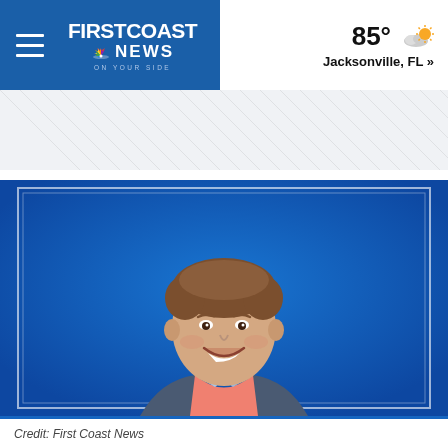FIRST COAST NEWS | 85° Jacksonville, FL »
[Figure (photo): Smiling man with curly brown hair wearing a blue dotted blazer, coral/salmon pink shirt, and a light blue floral bow tie, photographed against a bright blue background with a white border frame. Professional headshot/portrait style.]
Credit: First Coast News